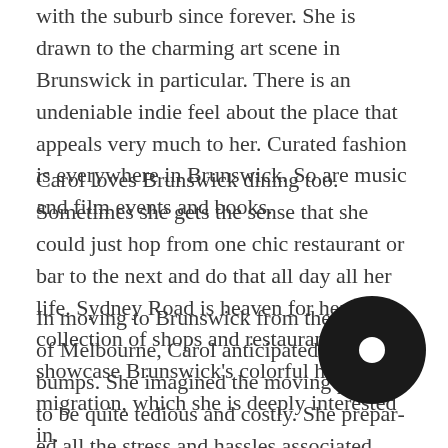with the suburb since forever. She is drawn to the charming art scene in Brunswick in particular. There is an undeniable indie feel about the place that appeals very much to her. Curated fashion is everywhere in Brunswick. So are music and film events and books.
Carol loves Brunswick dining too. Sometimes she gets the sense that she could just hop from one chic restaurant or bar to the next and do that all day all her life. Sydney Road is heaven for her. Its collection of shops and restaurants showcase Brunswick's colorful history of migration, which she is deeply interested in.
In moving to Brunswick from the center of Melbourne, Carol anticipated a few bumps. She imagined the moving process to be quite tedious and costly. She prepared all the stress and hassles associated with moving to another apartment. This included using a storage facility for her things while she sorted out her new apartment...